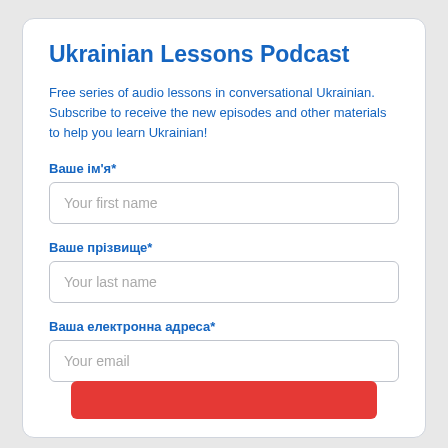Ukrainian Lessons Podcast
Free series of audio lessons in conversational Ukrainian. Subscribe to receive the new episodes and other materials to help you learn Ukrainian!
Ваше ім'я*
Your first name
Ваше прізвище*
Your last name
Ваша електронна адреса*
Your email